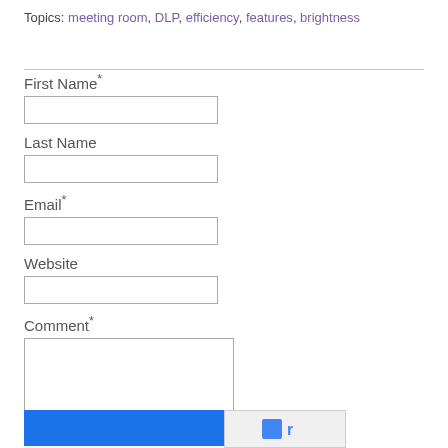Topics: meeting room, DLP, efficiency, features, brightness
First Name*
Last Name
Email*
Website
Comment*